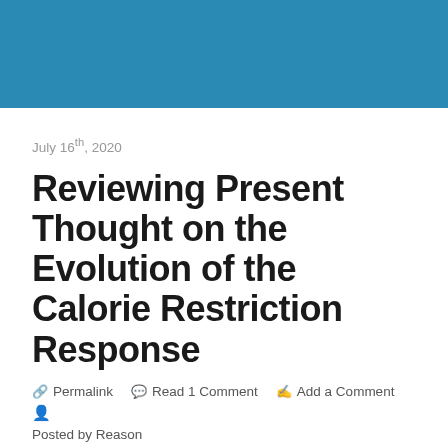[Figure (other): Blue decorative header banner]
July 16th, 2020
Reviewing Present Thought on the Evolution of the Calorie Restriction Response
Permalink   Read 1 Comment   Add a Comment   Posted by Reason